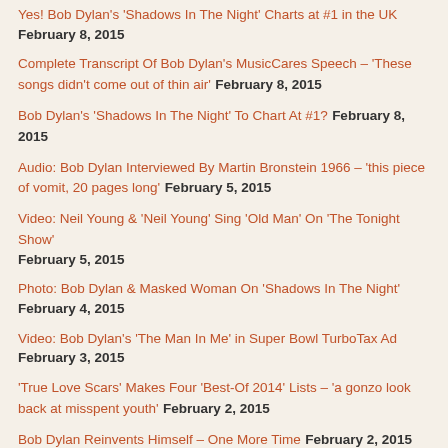Yes! Bob Dylan's 'Shadows In The Night' Charts at #1 in the UK February 8, 2015
Complete Transcript Of Bob Dylan's MusicCares Speech – 'These songs didn't come out of thin air' February 8, 2015
Bob Dylan's 'Shadows In The Night' To Chart At #1? February 8, 2015
Audio: Bob Dylan Interviewed By Martin Bronstein 1966 – 'this piece of vomit, 20 pages long' February 5, 2015
Video: Neil Young & 'Neil Young' Sing 'Old Man' On 'The Tonight Show' February 5, 2015
Photo: Bob Dylan & Masked Woman On 'Shadows In The Night' February 4, 2015
Video: Bob Dylan's 'The Man In Me' in Super Bowl TurboTax Ad February 3, 2015
'True Love Scars' Makes Four 'Best-Of 2014' Lists – 'a gonzo look back at misspent youth' February 2, 2015
Bob Dylan Reinvents Himself – One More Time February 2, 2015
Greil Marcus on Bob Dylan: 'The killer was "Long and Wasted Years."' January 30, 2015